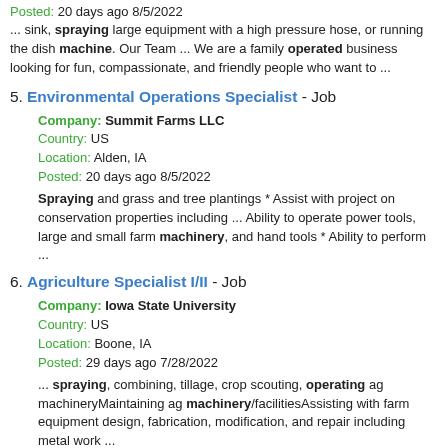Posted:  20 days ago 8/5/2022
... sink, spraying large equipment with a high pressure hose, or running the dish machine. Our Team ... We are a family operated business looking for fun, compassionate, and friendly people who want to ...
5. Environmental Operations Specialist - Job
Company:  Summit Farms LLC
Country:  US
Location:  Alden, IA
Posted:  20 days ago 8/5/2022
Spraying and grass and tree plantings * Assist with project on conservation properties including ... Ability to operate power tools, large and small farm machinery, and hand tools * Ability to perform ...
6. Agriculture Specialist I/II - Job
Company:  Iowa State University
Country:  US
Location:  Boone, IA
Posted:  29 days ago 7/28/2022
... spraying, combining, tillage, crop scouting, operating ag machineryMaintaining ag machinery/facilitiesAssisting with farm equipment design, fabrication, modification, and repair including metal work ...